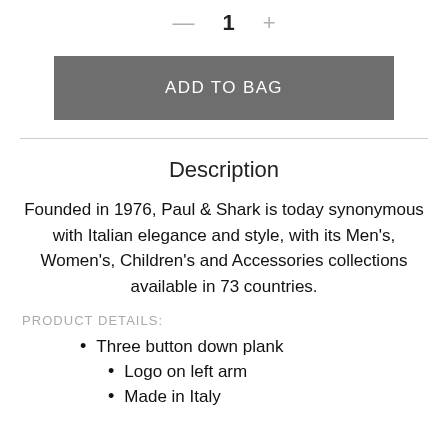— 1 +
ADD TO BAG
Description
Founded in 1976, Paul & Shark is today synonymous with Italian elegance and style, with its Men's, Women's, Children's and Accessories collections available in 73 countries.
PRODUCT DETAILS:
Three button down plank
Logo on left arm
Made in Italy